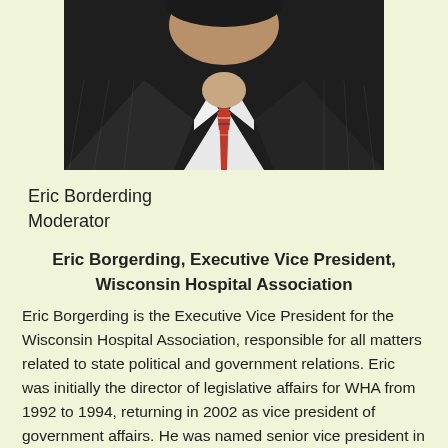[Figure (photo): Headshot photo of a man in a dark pinstripe suit with a red striped tie and white shirt]
Eric Borderding
Moderator
Eric Borgerding, Executive Vice President, Wisconsin Hospital Association
Eric Borgerding is the Executive Vice President for the Wisconsin Hospital Association, responsible for all matters related to state political and government relations. Eric was initially the director of legislative affairs for WHA from 1992 to 1994, returning in 2002 as vice president of government affairs. He was named senior vice president in 2003 and